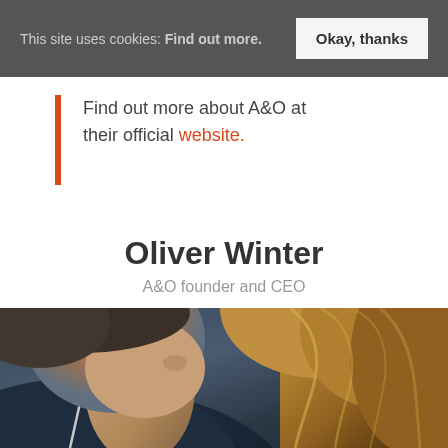This site uses cookies: Find out more. Okay, thanks
Find out more about A&O at their official website.
Oliver Winter
A&O founder and CEO
[Figure (photo): Close-up photo of two people, one wearing a dark blue hoodie looking downward, and another person with blonde/auburn hair visible on the right side.]